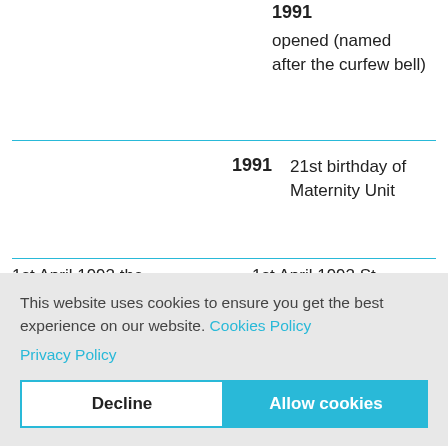1991
opened (named after the curfew bell)
1991
21st birthday of Maternity Unit
1st April 1992 the
1st April 1992 St.
This website uses cookies to ensure you get the best experience on our website. Cookies Policy Privacy Policy
Decline
Allow cookies